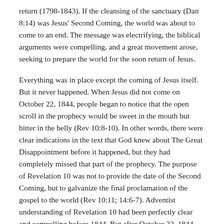return (1798-1843). If the cleansing of the sanctuary (Dan 8:14) was Jesus' Second Coming, the world was about to come to an end. The message was electrifying, the biblical arguments were compelling, and a great movement arose, seeking to prepare the world for the soon return of Jesus.
Everything was in place except the coming of Jesus itself. But it never happened. When Jesus did not come on October 22, 1844, people began to notice that the open scroll in the prophecy would be sweet in the mouth but bitter in the belly (Rev 10:8-10). In other words, there were clear indications in the text that God knew about The Great Disappointment before it happened, but they had completely missed that part of the prophecy. The purpose of Revelation 10 was not to provide the date of the Second Coming, but to galvanize the final proclamation of the gospel to the world (Rev 10:11; 14:6-7). Adventist understanding of Revelation 10 had been perfectly clear and compelling before 1844. But after October 22, 1844, the Adventist pioneers were forced to re-read and